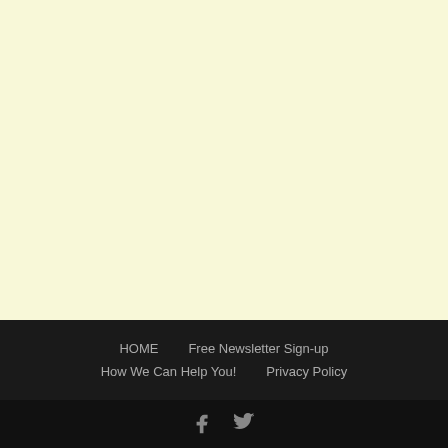HOME  Free Newsletter Sign-up  How We Can Help You!  Privacy Policy
[Figure (other): Social media icons: Facebook and Twitter logos in gray on dark background]